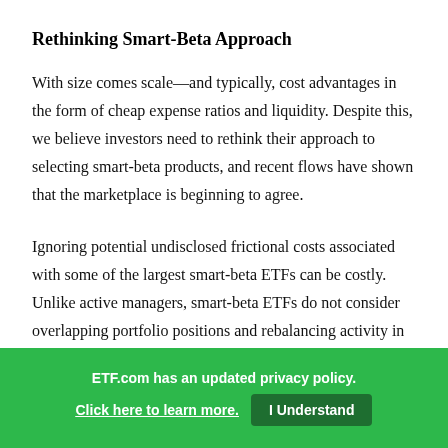Rethinking Smart-Beta Approach
With size comes scale—and typically, cost advantages in the form of cheap expense ratios and liquidity. Despite this, we believe investors need to rethink their approach to selecting smart-beta products, and recent flows have shown that the marketplace is beginning to agree.
Ignoring potential undisclosed frictional costs associated with some of the largest smart-beta ETFs can be costly. Unlike active managers, smart-beta ETFs do not consider overlapping portfolio positions and rebalancing activity in other products, and their investment process rarely
ETF.com has an updated privacy policy. Click here to learn more. I Understand